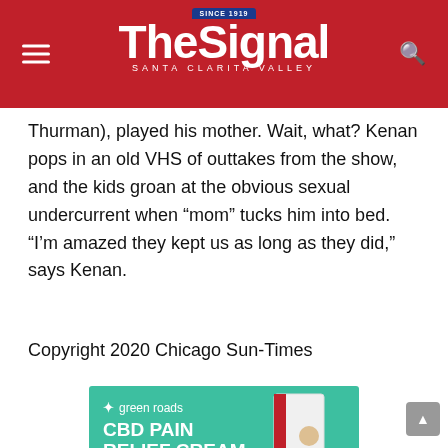The Signal — Santa Clarita Valley
Thurman), played his mother. Wait, what? Kenan pops in an old VHS of outtakes from the show, and the kids groan at the obvious sexual undercurrent when “mom” tucks him into bed. “I’m amazed they kept us as long as they did,” says Kenan.
Copyright 2020 Chicago Sun-Times
[Figure (photo): Green Roads CBD Pain Relief Cream advertisement on teal/green background, showing product box on the right side. Text reads: green roads, CBD PAIN RELIEF CREAM, The relief you need exactly where you need it most.]